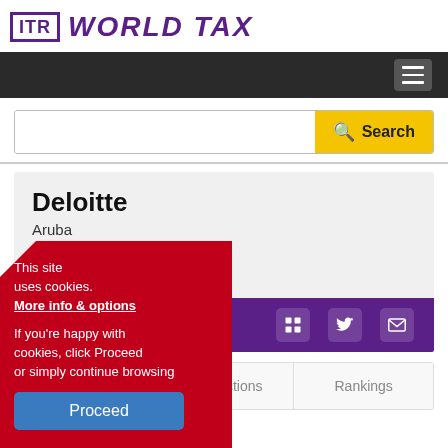ITR WORLD TAX
[Figure (screenshot): Navigation bar with hamburger menu icon on dark background]
[Figure (screenshot): Search bar with yellow Search button and magnifying glass icon]
Deloitte
Aruba
[Figure (screenshot): Purple social bar with LinkedIn, Twitter, and email icons]
[Figure (screenshot): Tab navigation with Profile (active/underlined), Jurisdictions, Rankings]
This site uses cookies. More info & options

If you're happy with cookies, click Proceed or simply continue browsing
[Figure (screenshot): Blue Proceed button in cookie consent overlay]